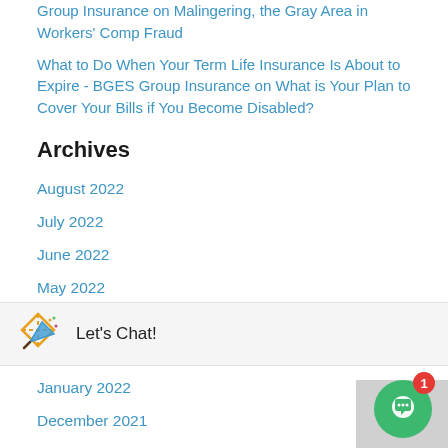Group Insurance on Malingering, the Gray Area in Workers' Comp Fraud
What to Do When Your Term Life Insurance Is About to Expire - BGES Group Insurance on What is Your Plan to Cover Your Bills if You Become Disabled?
Archives
August 2022
July 2022
June 2022
May 2022
March 2022
February 2022
January 2022
December 2021
November 2021
October 2021